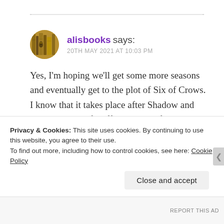[Figure (photo): Circular avatar image of a bookshelf with stacked books, brownish-golden tones]
alisbooks says:
20TH MAY 2021 AT 10:03 PM
Yes, I'm hoping we'll get some more seasons and eventually get to the plot of Six of Crows. I know that it takes place after Shadow and Bone because of stuff at the end of Crooked Kingdom, so maybe in the future. Fingers crossed we get more of the
Privacy & Cookies: This site uses cookies. By continuing to use this website, you agree to their use.
To find out more, including how to control cookies, see here: Cookie Policy
Close and accept